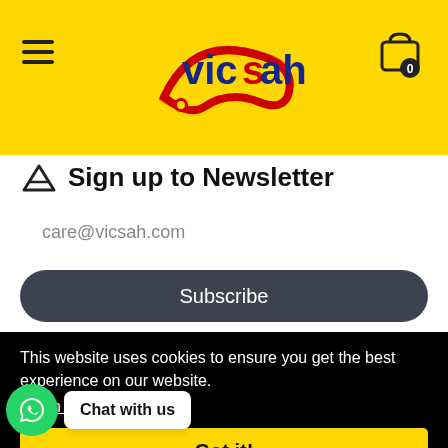[Figure (logo): Vicsah logo with red swoosh and mouse cursor icon on yellow background]
Sign up to Newsletter
care@vicsah.com
Subscribe
This website uses cookies to ensure you get the best experience on our website.
Learn more
Chat with us
Got it!